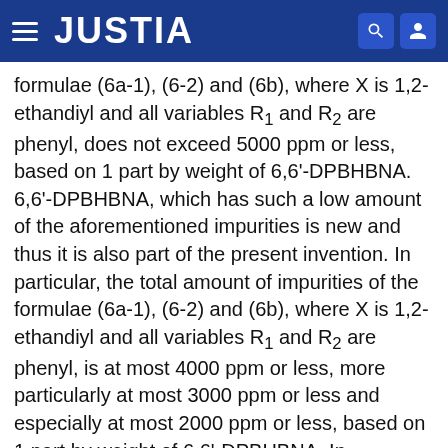JUSTIA
formulae (6a-1), (6-2) and (6b), where X is 1,2-ethandiyl and all variables R1 and R2 are phenyl, does not exceed 5000 ppm or less, based on 1 part by weight of 6,6'-DPBHBNA. 6,6'-DPBHBNA, which has such a low amount of the aforementioned impurities is new and thus it is also part of the present invention. In particular, the total amount of impurities of the formulae (6a-1), (6-2) and (6b), where X is 1,2-ethandiyl and all variables R1 and R2 are phenyl, is at most 4000 ppm or less, more particularly at most 3000 ppm or less and especially at most 2000 ppm or less, based on 1 part by weight of 6,6'-DPBHBNA. In particular, the weight of each impurity of the formulae (6a-1), (6-2) and (6b), where X is 1,2-ethandiyl and all variables R1 and R2 are phenyl, is preferably at most 2000 ppm or less, in particular at most 1500 ppm or less and especially at most 1000 ppm or less, based on 1 part by weight of 6,6'-DPBHBNA. If